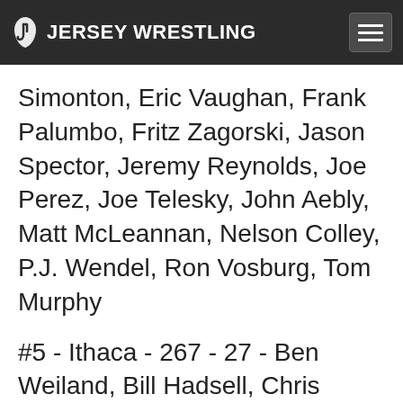JERSEY WRESTLING
Simonton, Eric Vaughan, Frank Palumbo, Fritz Zagorski, Jason Spector, Jeremy Reynolds, Joe Perez, Joe Telesky, John Aebly, Matt McLeannan, Nelson Colley, P.J. Wendel, Ron Vosburg, Tom Murphy
#5 - Ithaca - 267 - 27 - Ben Weiland, Bill Hadsell, Chris Matteotti, Dan Uhteg, Jason Bovenzi, Joel Lamson, John Gemmell, John Gremmel, Kent Maslin, Lenny Bruehwiler, Marty Nichols, Matt Sorochinsky, Mike Cronmiller, Mike Fusilli, Mike Murtha, Ron Gross, Steve Farr, Tom